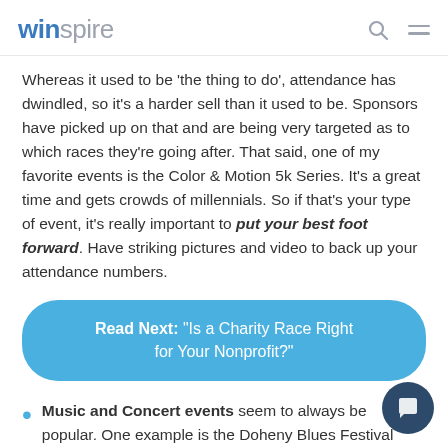winspire
Whereas it used to be 'the thing to do', attendance has dwindled, so it's a harder sell than it used to be. Sponsors have picked up on that and are being very targeted as to which races they're going after. That said, one of my favorite events is the Color & Motion 5k Series. It's a great time and gets crowds of millennials. So if that's your type of event, it's really important to put your best foot forward. Have striking pictures and video to back up your attendance numbers.
Read Next: "Is a Charity Race Right for Your Nonprofit?"
Music and Concert events seem to always be popular. One example is the Doheny Blues Festival